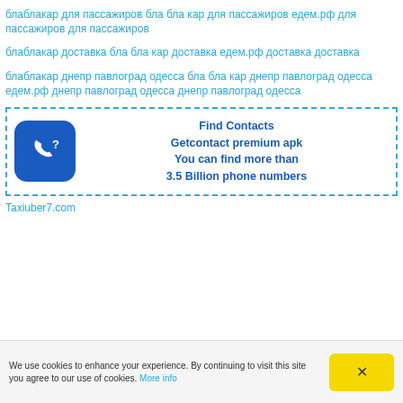блаблакар для пассажиров бла бла кар для пассажиров едем.рф для пассажиров для пассажиров
блаблакар доставка бла бла кар доставка едем.рф доставка доставка
блаблакар днепр павлоград одесса бла бла кар днепр павлоград одесса едем.рф днепр павлоград одесса днепр павлоград одесса
[Figure (infographic): Advertisement box with dashed blue border. Contains a blue rounded square icon with a phone/contact symbol on the left, and bold blue text on the right reading: Find Contacts / Getcontact premium apk / You can find more than / 3.5 Billion phone numbers]
Taxiuber7.com
We use cookies to enhance your experience. By continuing to visit this site you agree to our use of cookies. More info